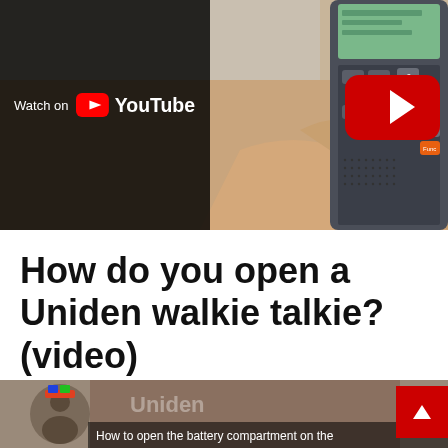[Figure (screenshot): YouTube video thumbnail showing a hand holding a Uniden walkie-talkie radio with a red YouTube play button overlay. A 'Watch on YouTube' bar is shown at the bottom left of the thumbnail.]
How do you open a Uniden walkie talkie? (video)
[Figure (screenshot): Partial YouTube video thumbnail at bottom of page showing a person and text 'How to open the battery compartment on the...' with a red scroll-up button on the right.]